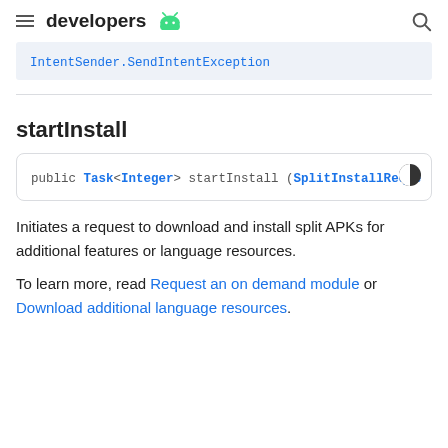developers [android logo]
IntentSender.SendIntentException
startInstall
public Task<Integer> startInstall (SplitInstallReque
Initiates a request to download and install split APKs for additional features or language resources.
To learn more, read Request an on demand module or Download additional language resources.